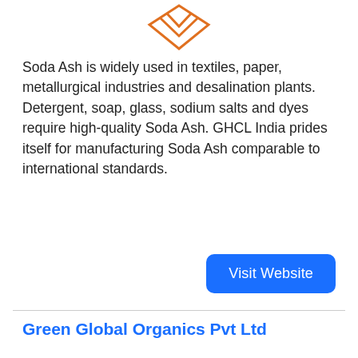[Figure (logo): GHCL India logo - orange diamond/chevron shape with text]
Soda Ash is widely used in textiles, paper, metallurgical industries and desalination plants. Detergent, soap, glass, sodium salts and dyes require high-quality Soda Ash. GHCL India prides itself for manufacturing Soda Ash comparable to international standards.
[Figure (other): Blue 'Visit Website' button]
Green Global Organics Pvt Ltd
[Figure (logo): Mugi Homecare logo - red and green circular logo with fruit imagery]
Having an experience of 10 years with successful innovations in leather chemical technology, is now